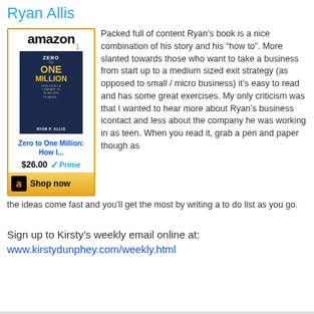Ryan Allis
[Figure (other): Amazon product widget showing the book 'Zero to One Million: How I...' priced at $26.00 with Prime badge and Shop now button]
Packed full of content Ryan's book is a nice combination of his story and his “how to”. More slanted towards those who want to take a business from start up to a medium sized exit strategy (as opposed to small / micro business) it’s easy to read and has some great exercises. My only criticism was that I wanted to hear more about Ryan’s business icontact and less about the company he was working in as teen. When you read it, grab a pen and paper though as the ideas come fast and you’ll get the most by writing a to do list as you go.
Sign up to Kirsty's weekly email online at:
www.kirstydunphey.com/weekly.html